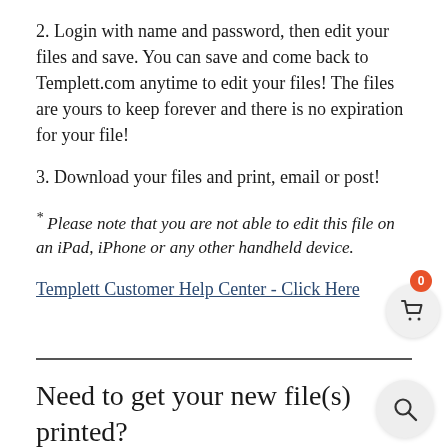2. Login with name and password, then edit your files and save. You can save and come back to Templett.com anytime to edit your files! The files are yours to keep forever and there is no expiration for your file!
3. Download your files and print, email or post!
* Please note that you are not able to edit this file on an iPad, iPhone or any other handheld device.
Templett Customer Help Center - Click Here
Need to get your new file(s) printed?
TidyLady Printables has partnered with Prints Of )